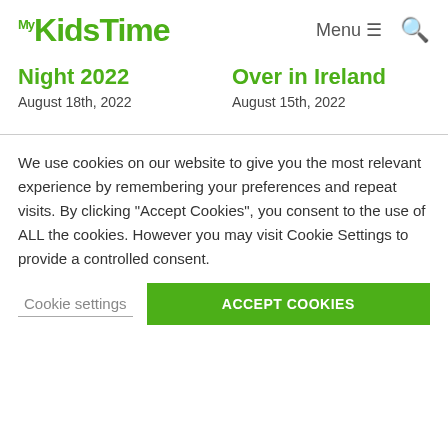My KidsTime — Menu (hamburger) Search
Night 2022
August 18th, 2022
Over in Ireland
August 15th, 2022
We use cookies on our website to give you the most relevant experience by remembering your preferences and repeat visits. By clicking "Accept Cookies", you consent to the use of ALL the cookies. However you may visit Cookie Settings to provide a controlled consent.
Cookie settings
ACCEPT COOKIES